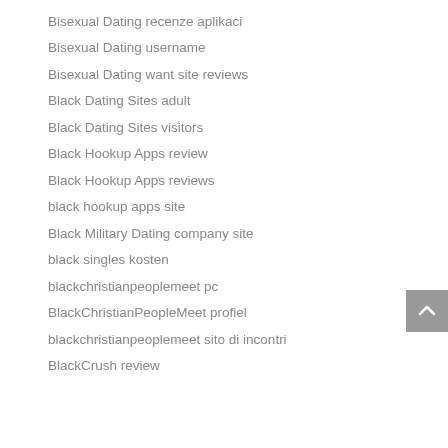Bisexual Dating recenze aplikaci
Bisexual Dating username
Bisexual Dating want site reviews
Black Dating Sites adult
Black Dating Sites visitors
Black Hookup Apps review
Black Hookup Apps reviews
black hookup apps site
Black Military Dating company site
black singles kosten
blackchristianpeoplemeet pc
BlackChristianPeopleMeet profiel
blackchristianpeoplemeet sito di incontri
BlackCrush review